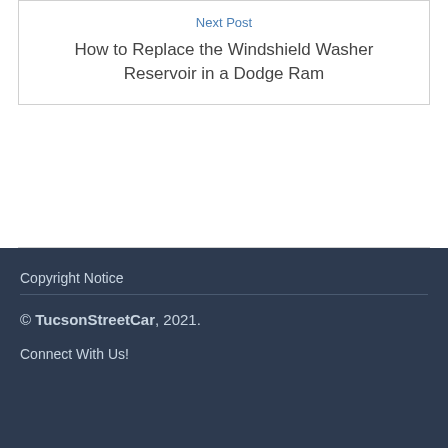Next Post
How to Replace the Windshield Washer Reservoir in a Dodge Ram
Copyright Notice
© TucsonStreetCar, 2021.
Connect With Us!